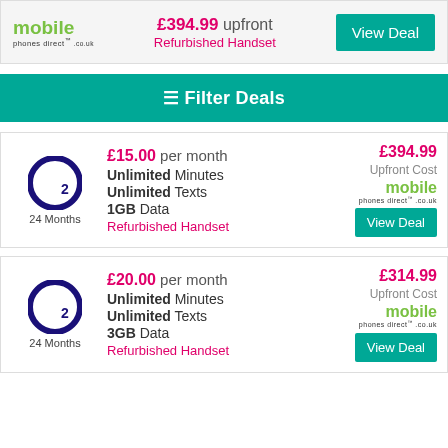£394.99 upfront
Refurbished Handset
[Figure (logo): Mobile Phones Direct logo]
View Deal
≡ Filter Deals
[Figure (logo): O2 logo, 24 Months]
£15.00 per month
Unlimited Minutes
Unlimited Texts
1GB Data
Refurbished Handset
£394.99 Upfront Cost
[Figure (logo): Mobile Phones Direct logo]
View Deal
[Figure (logo): O2 logo, 24 Months]
£20.00 per month
Unlimited Minutes
Unlimited Texts
3GB Data
Refurbished Handset
£314.99 Upfront Cost
[Figure (logo): Mobile Phones Direct logo]
View Deal